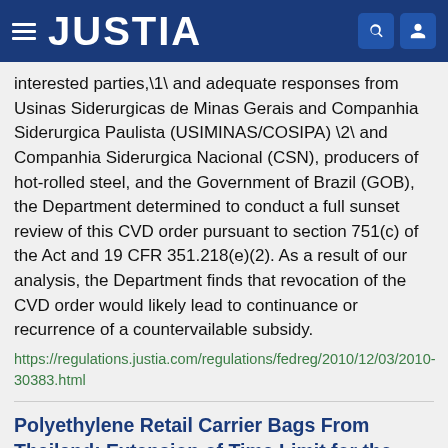JUSTIA
interested parties,\1\ and adequate responses from Usinas Siderurgicas de Minas Gerais and Companhia Siderurgica Paulista (USIMINAS/COSIPA) \2\ and Companhia Siderurgica Nacional (CSN), producers of hot-rolled steel, and the Government of Brazil (GOB), the Department determined to conduct a full sunset review of this CVD order pursuant to section 751(c) of the Act and 19 CFR 351.218(e)(2). As a result of our analysis, the Department finds that revocation of the CVD order would likely lead to continuance or recurrence of a countervailable subsidy.
https://regulations.justia.com/regulations/fedreg/2010/12/03/2010-30383.html
Polyethylene Retail Carrier Bags From Thailand: Extension of Time Limit for the Final Results of the